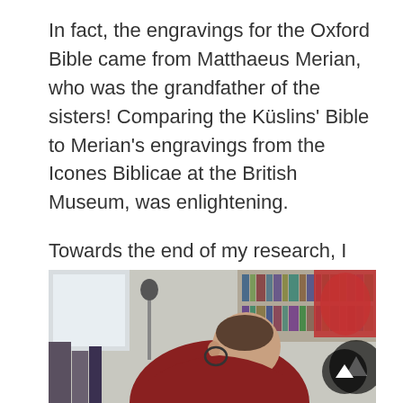In fact, the engravings for the Oxford Bible came from Matthaeus Merian, who was the grandfather of the sisters! Comparing the Küslins' Bible to Merian's engravings from the Icones Biblicae at the British Museum, was enlightening.
Towards the end of my research, I started to think about how I wanted the books and labels to be displayed and show off the books to their best advantage.
[Figure (photo): A person in a dark red/maroon shirt leaning over a surface, viewed from behind/above. Bookshelves with books visible in the background, along with a red jacket/bag on the right side. A microphone stand is visible on the left.]